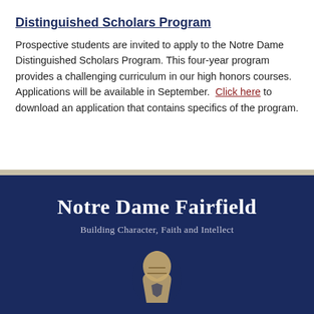Distinguished Scholars Program
Prospective students are invited to apply to the Notre Dame Distinguished Scholars Program. This four-year program provides a challenging curriculum in our high honors courses. Applications will be available in September.  Click here to download an application that contains specifics of the program.
Notre Dame Fairfield
Building Character, Faith and Intellect
[Figure (logo): Notre Dame Fairfield school logo/mascot — a knight or similar figure in gold and navy tones, partially visible at bottom of page]